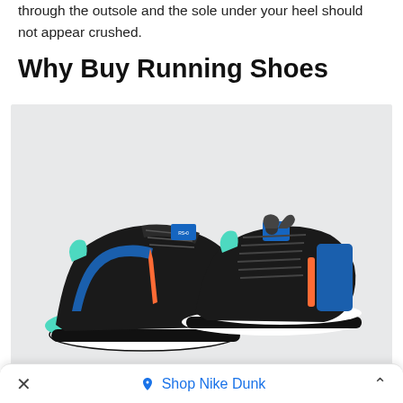through the outsole and the sole under your heel should not appear crushed.
Why Buy Running Shoes
[Figure (photo): A pair of Puma running shoes in black with blue, teal/mint, and orange accents, featuring chunky white and teal soles and braided black laces, displayed on a light gray background.]
× ◇ Shop Nike Dunk ^